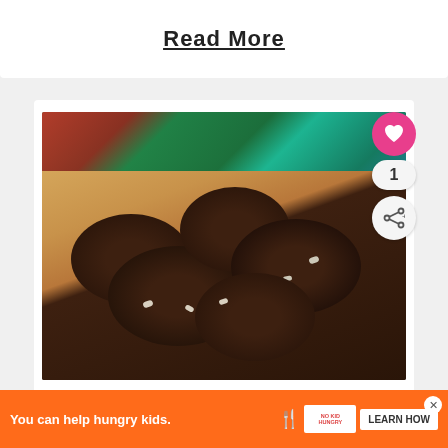Read More
[Figure (photo): Dark chocolate macadamia nut cookies piled on a wooden board with a festive Christmas greenery and red floral arrangement in the background]
Keto Chocolate Macadamia
You can help hungry kids. NO KID HUNGRY LEARN HOW